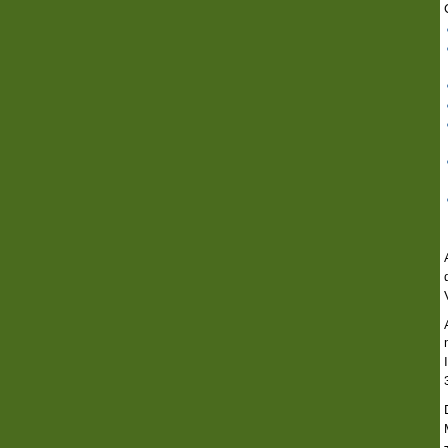Chapter 3 to different Chapters of the V...
Signs and Billboards will be moved to Chapter...
Bulkhead Line – Pine Lake and Establishing S... Chapter 4, Sections 4.7 and 4.8 respectively
Care of Trees will be moved to Chapter 8, Sec...
Village Forester will be moved to Chapter 1, S...
No Trailer Camps language was out of date so... section will be moved to Chapter 6, Section 6...
Regulation of the Application and Use of Fertil... 8.25
Underground Utility Facilities Required will be... additional modification will be done to subsect... install underground utility facilities.
A copy of the proposed Official Map may view... during regular office hours. Interested parties... Village Administrator, at 262-367-2239 or chie...
A copy of the proposed changes to Chapter 3... may also be viewed on our website or at the V... Interested parties may contact Robert Douglas... 367-2239 or chief@chenequa.org.
During the Public Hearing, the public is invited... Map and Chapter 3. Written comments may b... Treasurer until 4:30 p.m. on March 11th. The p... interested parties in attendance have had an o...
Upon the close of the Public Hearing, a meeti... Board shall be called to order and this matter...